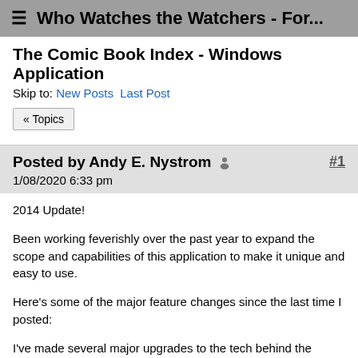Who Watches the Watchers - For...
The Comic Book Index - Windows Application
Skip to: New Posts  Last Post
« Topics
Posted by Andy E. Nystrom  #1
1/08/2020 6:33 pm
2014 Update!
Been working feverishly over the past year to expand the scope and capabilities of this application to make it unique and easy to use.
Here's some of the major feature changes since the last time I posted:
I've made several major upgrades to the tech behind the database, so it's faster, more efficient, and much more powerful. Some of the major features of interest:
Most all the windows have undergone a revamp so they're larger, the information is better organized, and have a lot of new features.